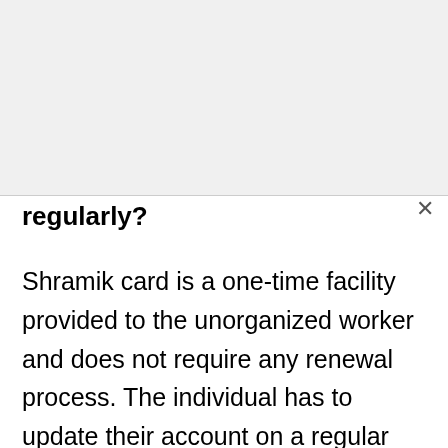regularly?
Shramik card is a one-time facility provided to the unorganized worker and does not require any renewal process. The individual has to update their account on a regular basis with an account number to keep it active and processed in the government portal.